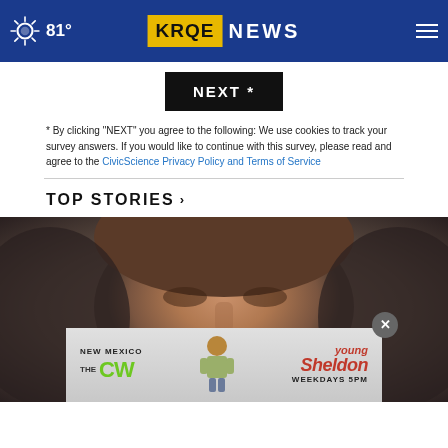81° KRQE NEWS
[Figure (screenshot): NEXT * button — black background with white bold text]
* By clicking "NEXT" you agree to the following: We use cookies to track your survey answers. If you would like to continue with this survey, please read and agree to the CivicScience Privacy Policy and Terms of Service
TOP STORIES ›
[Figure (photo): Close-up photo of a young man's face, outdoor setting]
[Figure (screenshot): Advertisement overlay: New Mexico CW — Young Sheldon WEEKDAYS 5PM]